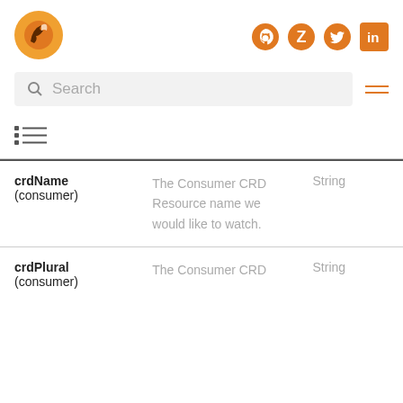[Figure (logo): Orange bird/fox logo circle]
[Figure (logo): Social media icons: GitHub, Z, Twitter, LinkedIn in orange]
[Figure (screenshot): Search bar with magnifying glass icon and hamburger menu]
[Figure (infographic): Table of contents icon (list icon)]
| Field | Description | Type |
| --- | --- | --- |
| crdName (consumer) | The Consumer CRD Resource name we would like to watch. | String |
| crdPlural (consumer) | The Consumer CRD | String |